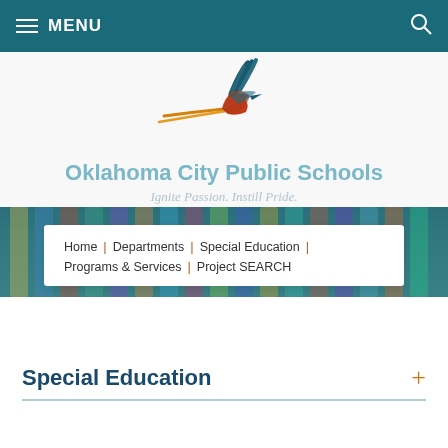MENU
[Figure (logo): Oklahoma City Public Schools bird/scissor-tailed flycatcher logo with open book wings, teal and red-orange coloring]
Oklahoma City Public Schools
Ignite Passion. Instill Pride.
[Figure (photo): Blurred image of colorful pencils with teal overlay]
Home | Departments | Special Education | Programs & Services | Project SEARCH
Special Education